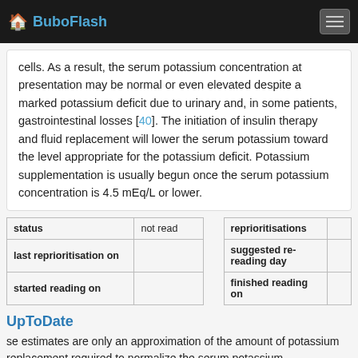BuboFlash
cells. As a result, the serum potassium concentration at presentation may be normal or even elevated despite a marked potassium deficit due to urinary and, in some patients, gastrointestinal losses [40]. The initiation of insulin therapy and fluid replacement will lower the serum potassium toward the level appropriate for the potassium deficit. Potassium supplementation is usually begun once the serum potassium concentration is 4.5 mEq/L or lower.
| status | not read |  | reprioritisations |  |
| --- | --- | --- | --- | --- |
| last reprioritisation on |  |  | suggested re-reading day |  |
| started reading on |  |  | finished reading on |  |
UpToDate
se estimates are only an approximation of the amount of potassium replacement required to normalize the serum potassium concentration and careful monitoring is required. Uncontrolled diabetes — <span>In